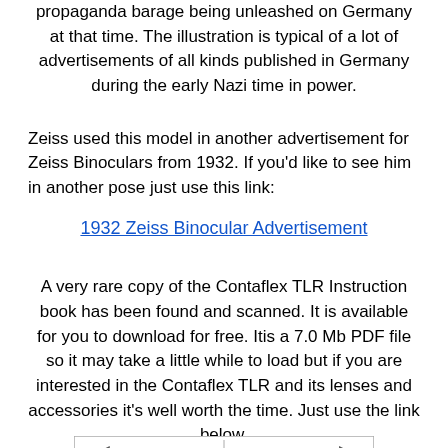propaganda barage being unleashed on Germany at that time. The illustration is typical of a lot of advertisements of all kinds published in Germany during the early Nazi time in power.
Zeiss used this model in another advertisement for Zeiss Binoculars from 1932. If you'd like to see him in another pose just use this link:
1932 Zeiss Binocular Advertisement
A very rare copy of the Contaflex TLR Instruction book has been found and scanned. It is available for you to download for free. Itis a 7.0 Mb PDF file so it may take a little while to load but if you are interested in the Contaflex TLR and its lenses and accessories it's well worth the time. Just use the link below.
[Figure (other): Navigation bar with back and forward arrows and a divider in the center]